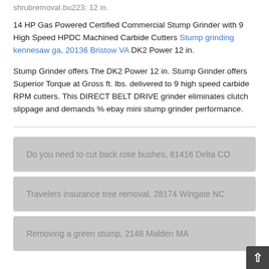shrubremovaI.bu223: 12 in.
14 HP Gas Powered Certified Commercial Stump Grinder with 9 High Speed HPDC Machined Carbide Cutters Stump grinding kennesaw ga, 20136 Bristow VA DK2 Power 12 in.
Stump Grinder offers The DK2 Power 12 in. Stump Grinder offers Superior Torque at Gross ft. lbs. delivered to 9 high speed carbide RPM cutters. This DIRECT BELT DRIVE grinder eliminates clutch slippage and demands % ebay mini stump grinder performance.
Do you need to cut back rose bushes, 81416 Delta CO
Travelers insurance tree removal, 28174 Wingate NC
Removing a green stump, 2148 Malden MA